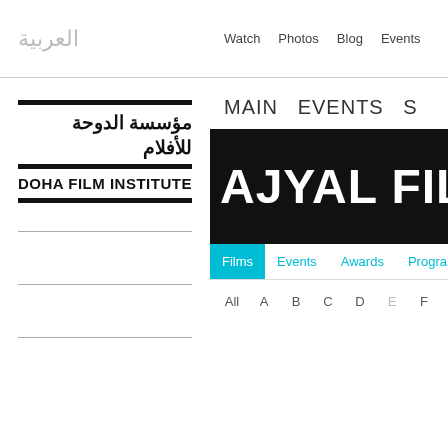العربية
Watch  Photos  Blog  Events
[Figure (logo): Doha Film Institute logo with Arabic text مؤسسة الدوحة للأفلام, horizontal black bars, and English text DOHA FILM INSTITUTE]
MAIN   EVENTS   S
AJYAL FIL
Films   Events   Awards   Progra
All   A   B   C   D   E   F   G